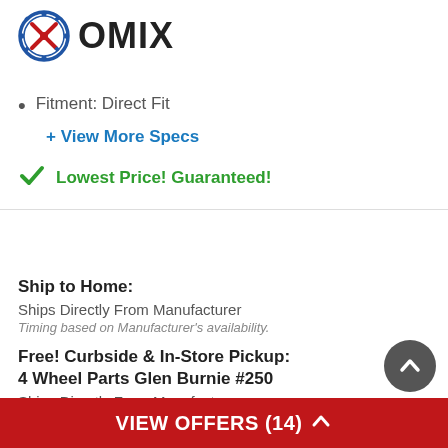[Figure (logo): OMIX brand logo with gear/badge icon on left and OMIX text in bold black]
Fitment: Direct Fit
+ View More Specs
✓ Lowest Price! Guaranteed!
Ship to Home:
Ships Directly From Manufacturer
Timing based on Manufacturer's availability.
Free! Curbside & In-Store Pickup:
4 Wheel Parts Glen Burnie #250
Ships Directly From Manufacturer
Timing based on Manufacturer's availability.
View Other Stores
VIEW OFFERS (14) ▲